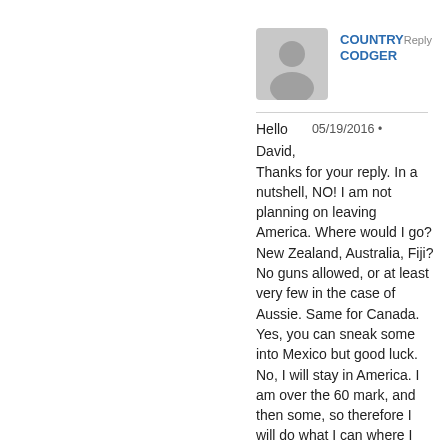[Figure (illustration): Gray avatar placeholder silhouette icon in a rounded square]
COUNTRY CODGER  Reply
Hello David,
05/19/2016 •
Thanks for your reply. In a nutshell, NO! I am not planning on leaving America. Where would I go? New Zealand, Australia, Fiji? No guns allowed, or at least very few in the case of Aussie. Same for Canada. Yes, you can sneak some into Mexico but good luck. No, I will stay in America. I am over the 60 mark, and then some, so therefore I will do what I can where I am. As, my older brother, also a Vietnam vet